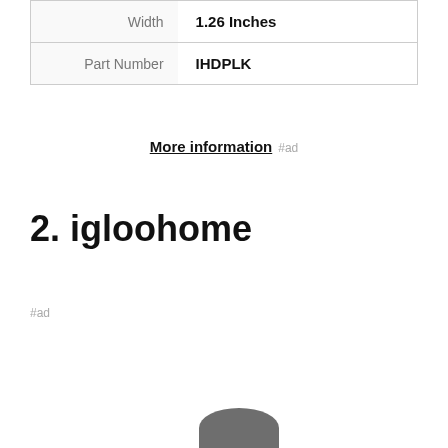|  |  |
| --- | --- |
| Width | 1.26 Inches |
| Part Number | IHDPLK |
More information #ad
2. igloohome
#ad
As an Amazon Associate I earn from qualifying purchases. This website uses the only necessary cookies to ensure you get the best experience on our website. More information